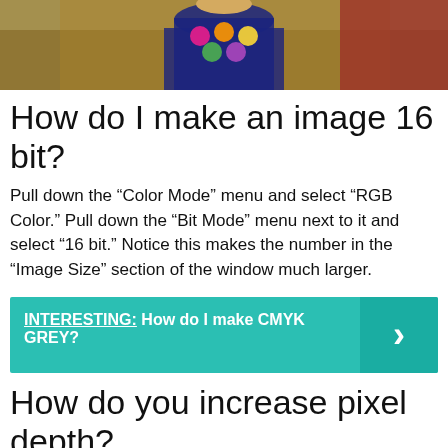[Figure (photo): Person wearing a dark blue t-shirt with colorful circle designs, standing in front of a yellow/wood background with a red car visible on the right side.]
How do I make an image 16 bit?
Pull down the “Color Mode” menu and select “RGB Color.” Pull down the “Bit Mode” menu next to it and select “16 bit.” Notice this makes the number in the “Image Size” section of the window much larger.
INTERESTING:  How do I make CMYK GREY?
How do you increase pixel depth?